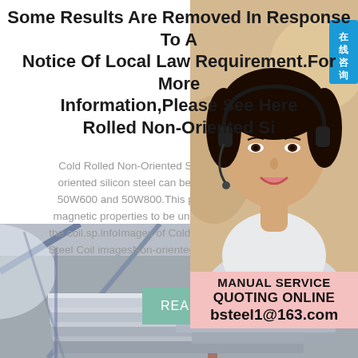Some Results Are Removed In Response To A Notice Of Local Law Requirement.For More Information,Please See Here Rolled Non-Oriented Si
Cold Rolled Non-Oriented Silicon Stee oriented silicon steel can be divided int 50W600 and 50W800.This product is c magnetic properties to be uniformly distri the coil.sp.infoImages of Cold Rolled non Steel Coil imagesNon-oriented Electrical S
[Figure (photo): Customer service representative woman wearing headset with online consultation badge (在线咨询) in Chinese]
MANUAL SERVICE
READ MORE
QUOTING ONLINE bsteel1@163.com
[Figure (photo): Stacked cold rolled steel sheets/plates in a warehouse or industrial facility]